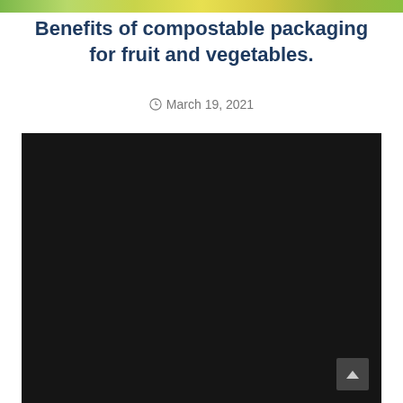[Figure (photo): Partial top strip of a fruit and vegetables image with green and yellow colors]
Benefits of compostable packaging for fruit and vegetables.
March 19, 2021
[Figure (photo): Large mostly black/dark image block, likely a video or image that failed to load]